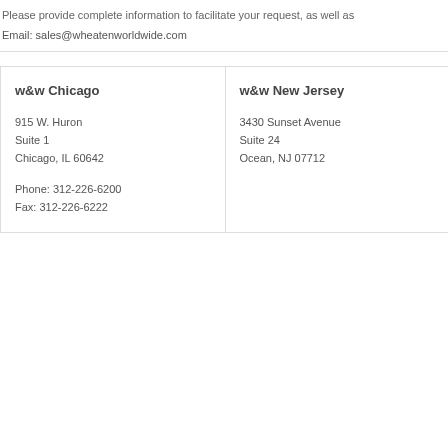Please provide complete information to facilitate your request, as well as
Email: sales@wheatenworldwide.com
w&w Chicago
915 W. Huron
Suite 1
Chicago, IL 60642
Phone: 312-226-6200
Fax: 312-226-6222
w&w New Jersey
3430 Sunset Avenue
Suite 24
Ocean, NJ 07712